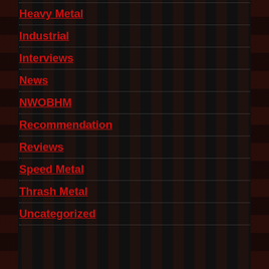Heavy Metal
Industrial
Interviews
News
NWOBHM
Recommendation
Reviews
Speed Metal
Thrash Metal
Uncategorized